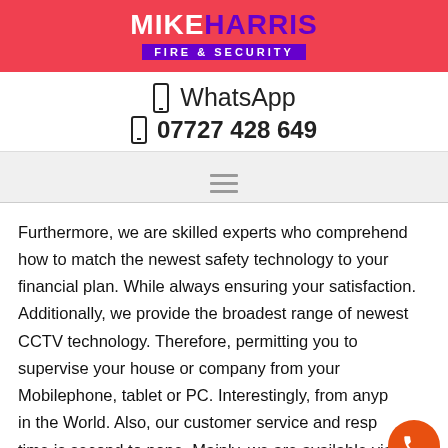[Figure (logo): Mike Harris Fire & Security logo on red background with purple text and subtitle]
WhatsApp 07727 428 649
[Figure (other): Hamburger/navigation menu icon on grey background]
Furthermore, we are skilled experts who comprehend how to match the newest safety technology to your financial plan. While always ensuring your satisfaction. Additionally, we provide the broadest range of newest CCTV technology. Therefore, permitting you to supervise your house or company from your Mobilephone, tablet or PC. Interestingly, from anyplace in the World. Also, our customer service and response time is second to none. Mainly, we are available via the